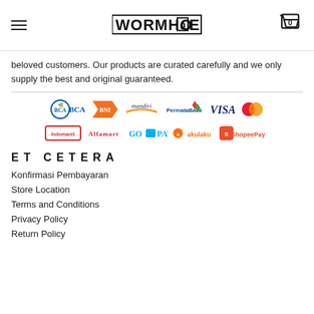WORMHOLE
beloved customers. Our products are curated carefully and we only supply the best and original guaranteed.
[Figure (logo): Payment method logos: BCA, BNI, Mandiri, PermataBank, VISA, Mastercard, Indomaret, Alfamart, GoPay, Akulaku, ShopeePay]
ET CETERA
Konfirmasi Pembayaran
Store Location
Terms and Conditions
Privacy Policy
Return Policy